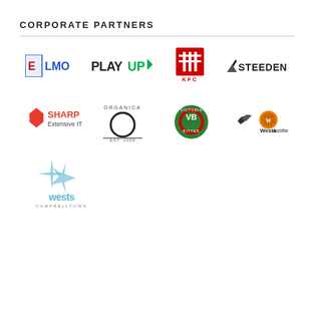CORPORATE PARTNERS
[Figure (logo): ELMO logo - red and blue text with colored squares]
[Figure (logo): PLAYUP logo with green arrow accent]
[Figure (logo): KFC logo - red and white Colonel Sanders icon]
[Figure (logo): STEEDEN logo with black angular swoosh]
[Figure (logo): SHARP Extensive IT logo - red hexagon icon]
[Figure (logo): Organica EST. 2009 logo - large O with brand name]
[Figure (logo): Victoria Bitter VB circular green and red logo]
[Figure (logo): Wests Ashfield logo with bird and tiger mascot]
[Figure (logo): Wests Campbelltown logo with blue star design]